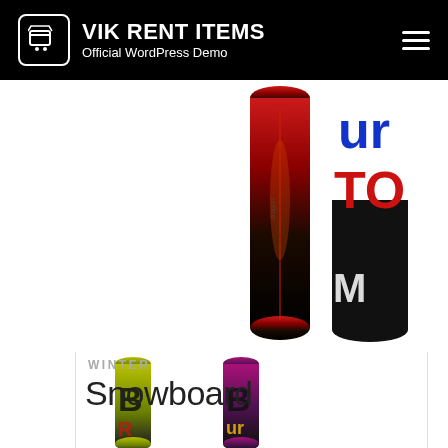VIK RENT ITEMS — Official WordPress Demo
[Figure (photo): Two snowboards shown vertically: one dark red/black board on the left, one black and white board with colorful Burton lettering on the right. Large product display image.]
[Figure (photo): Thumbnail 1: Small snowboard with yellow-green and black Burton graphic design]
[Figure (photo): Thumbnail 2: Small snowboard with purple/pink and black Burton graphic design]
WINTER
Snowboard